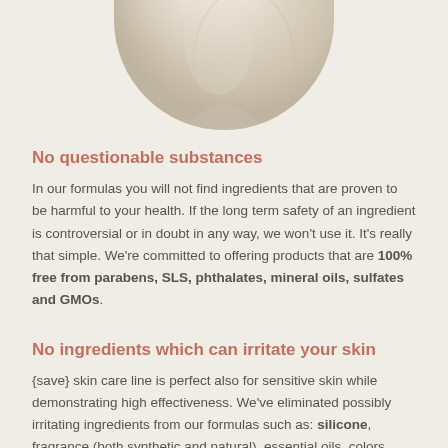[Figure (photo): Partial view of a circular product or cosmetic item photographed from above on a beige background, showing the bottom half of a circular cropped image.]
No questionable substances
In our formulas you will not find ingredients that are proven to be harmful to your health. If the long term safety of an ingredient is controversial or in doubt in any way, we won't use it. It's really that simple. We're committed to offering products that are 100% free from parabens, SLS, phthalates, mineral oils, sulfates and GMOs.
No ingredients which can irritate your skin
{save} skin care line is perfect also for sensitive skin while demonstrating high effectiveness. We've eliminated possibly irritating ingredients from our formulas such as: silicone, fragrance (both synthetic and natural), essential oils, colors,